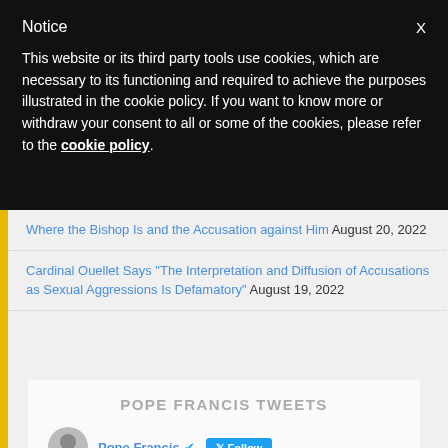Notice
This website or its third party tools use cookies, which are necessary to its functioning and required to achieve the purposes illustrated in the cookie policy. If you want to know more or withdraw your consent to all or some of the cookies, please refer to the cookie policy.
Where the Bishop Is and the Accusation against Him August 20, 2022
Cardinal Ouellet Says "The Interpretation and Diffusion of Accusations as Sexual Aggressions Is Defamatory" August 19, 2022
POPE FRANCIS TWEETS
Pope Francis  Follow